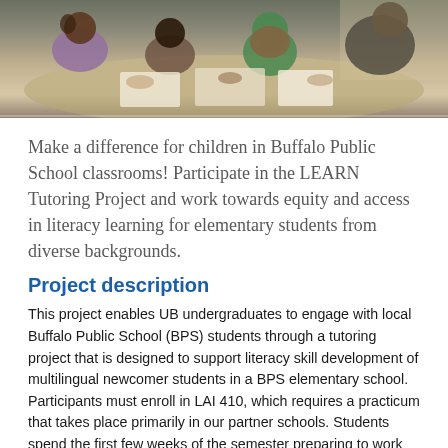[Figure (photo): Classroom photo showing children and a teacher working together around a table, with students appearing to be engaged in reading or writing activities. One student is wearing a green hijab.]
Make a difference for children in Buffalo Public School classrooms! Participate in the LEARN Tutoring Project and work towards equity and access in literacy learning for elementary students from diverse backgrounds.
Project description
This project enables UB undergraduates to engage with local Buffalo Public School (BPS) students through a tutoring project that is designed to support literacy skill development of multilingual newcomer students in a BPS elementary school. Participants must enroll in LAI 410, which requires a practicum that takes place primarily in our partner schools. Students spend the first few weeks of the semester preparing to work with students and then begin one-on-one and small group